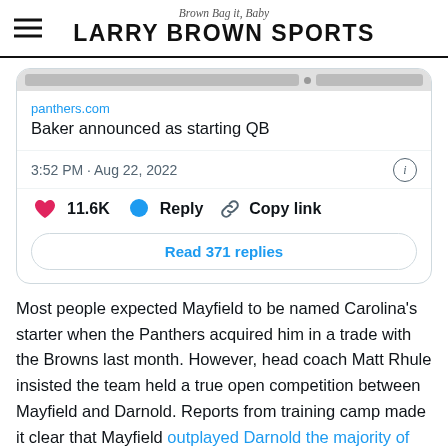Brown Bag it, Baby — LARRY BROWN SPORTS
[Figure (screenshot): Tweet card showing a link preview to panthers.com 'Baker announced as starting QB', posted at 3:52 PM · Aug 22, 2022, with 11.6K likes, Reply, Copy link buttons, and 'Read 371 replies' button]
Most people expected Mayfield to be named Carolina's starter when the Panthers acquired him in a trade with the Browns last month. However, head coach Matt Rhule insisted the team held a true open competition between Mayfield and Darnold. Reports from training camp made it clear that Mayfield outplayed Darnold the majority of the time.
Darnold threw for 2,527 yards, nine touchdowns and 13 interceptions in 12 games for the Panthers last season. They made it no secret that they